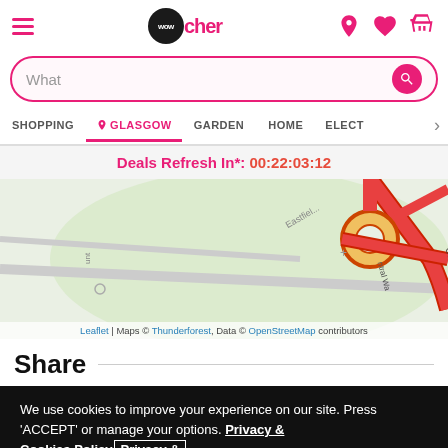[Figure (screenshot): Wowcher website header with hamburger menu, Wowcher logo, location pin icon, heart icon, and basket icon]
[Figure (screenshot): Search bar with 'What' placeholder text and pink search button]
[Figure (screenshot): Navigation tabs: SHOPPING, GLASGOW (active with pin), GARDEN, HOME, ELECT (with right arrow)]
Deals Refresh In*: 00:22:03:12
[Figure (map): OpenStreetMap showing Glasgow area with roads including Central Way and a roundabout, Eastfield area visible]
Leaflet | Maps © Thunderforest, Data © OpenStreetMap contributors
Share
We use cookies to improve your experience on our site. Press 'ACCEPT' or manage your options. Privacy & Cookies Policy
Options
ACCEPT